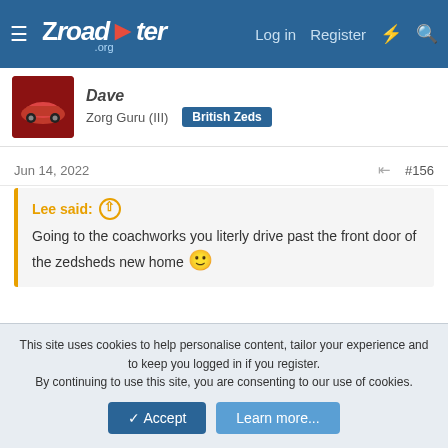Zroadster.org — Log in | Register
Zorg Guru (III) British Zeds
Jun 14, 2022  #156
Lee said: ↑
Going to the coachworks you literly drive past the front door of the zedsheds new home 🙂
Really?

I do come from the Mortimer West end direction. Will have to say hi some time 😀
This site uses cookies to help personalise content, tailor your experience and to keep you logged in if you register.
By continuing to use this site, you are consenting to our use of cookies.